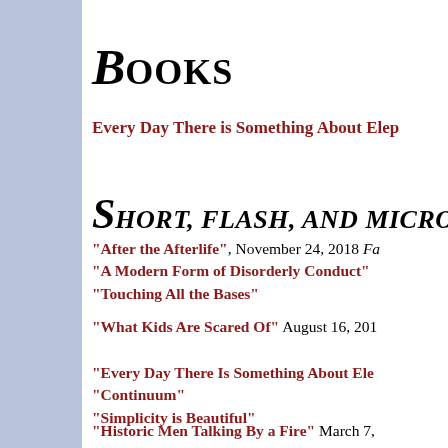Books
Every Day There is Something About Ele...
Short, Flash, and Micro Fiction
"After the Afterlife", November 24, 2018 Fa...
"A Modern Form of Disorderly Conduct"
"Touching All the Bases"
"What Kids Are Scared Of" August 16, 201...
"Every Day There Is Something About Ele...
"Continuum"
"Simplicity is Beautiful"
"Historic Men Talking By a Fire" March 7,...